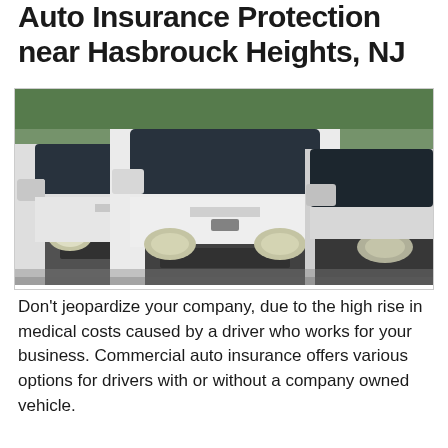Auto Insurance Protection near Hasbrouck Heights, NJ
[Figure (photo): Three white commercial vans parked side by side, front-facing view showing headlights and front grilles]
Don't jeopardize your company, due to the high rise in medical costs caused by a driver who works for your business. Commercial auto insurance offers various options for drivers with or without a company owned vehicle.